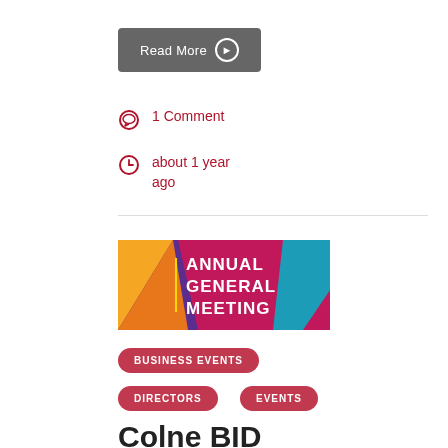Read More →
1 Comment
about 1 year ago
[Figure (illustration): Annual General Meeting promotional banner with colorful geometric shapes on dark purple/magenta background and white bold text reading ANNUAL GENERAL MEETING]
BUSINESS EVENTS
DIRECTORS
EVENTS
Colne BID